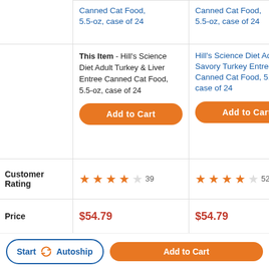|  | Item 1 | Item 2 | Item 3 (partial) |
| --- | --- | --- | --- |
|  | Canned Cat Food, 5.5-oz, case of 24 | Canned Cat Food, 5.5-oz, case of 24 | C... 5... |
|  | This Item - Hill's Science Diet Adult Turkey & Liver Entree Canned Cat Food, 5.5-oz, case of 24 [Add to Cart] | Hill's Science Diet Adult Savory Turkey Entree Canned Cat Food, 5.5-oz, case of 24 [Add to Cart] | H... A... C... C... 5... [Add to Cart partial] |
| Customer Rating | ★★★★☆ 39 | ★★★★☆ 52 | ★... |
| Price | $54.79 | $54.79 | $... |
Start Autoship | Add to Cart